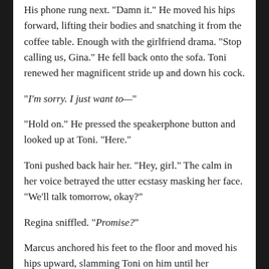His phone rung next. "Damn it." He moved his hips forward, lifting their bodies and snatching it from the coffee table. Enough with the girlfriend drama. "Stop calling us, Gina." He fell back onto the sofa. Toni renewed her magnificent stride up and down his cock.
“I’m sorry. I just want to—”
“Hold on.” He pressed the speakerphone button and looked up at Toni. “Here.”
Toni pushed back hair her. “Hey, girl.” The calm in her voice betrayed the utter ecstasy masking her face. “We’ll talk tomorrow, okay?”
Regina sniffled. “Promise?”
Marcus anchored his feet to the floor and moved his hips upward, slamming Toni on him until her